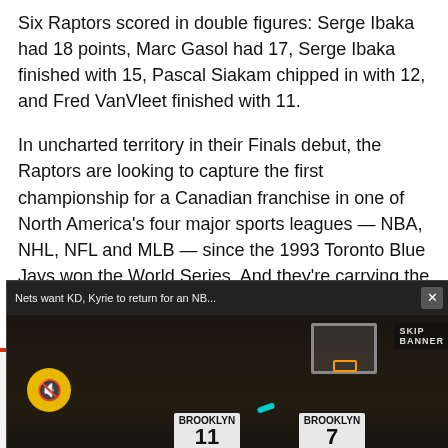Six Raptors scored in double figures: Serge Ibaka had 18 points, Marc Gasol had 17, Serge Ibaka finished with 15, Pascal Siakam chipped in with 12, and Fred VanVleet finished with 11.
In uncharted territory in their Finals debut, the Raptors are looking to capture the first championship for a Canadian franchise in one of North America's four major sports leagues — NBA, NHL, NFL and MLB — since the 1993 Toronto Blue Jays won the World Series. And they're carrying the pride and dreams of a country along with th...
[Figure (screenshot): Video overlay popup: 'Nets want KD, Kyrie to return for an NB...' with a close button. Shows two Brooklyn Nets players (#11 and #7) in white Brooklyn jerseys on a dark basketball court. A yellow mute button is visible. 'SKIP BANNER' text in top right corner.]
[Figure (screenshot): Advertisement banner for KONDOLAS with text 'LOWEST PRICES EVER!' and partial text visible on right side]